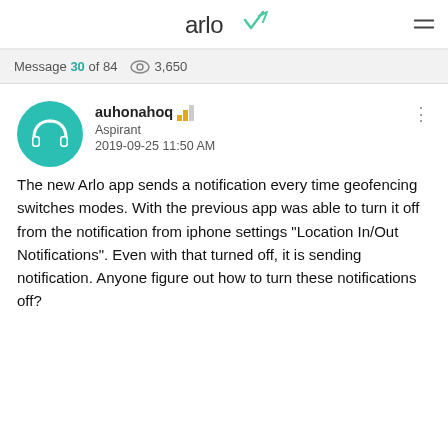arlo
Message 30 of 84  3,650
auhonahoq
Aspirant
2019-09-25 11:50 AM
The new Arlo app sends a notification every time geofencing switches modes. With the previous app was able to turn it off from the notification from iphone settings "Location In/Out Notifications". Even with that turned off, it is sending notification. Anyone figure out how to turn these notifications off?